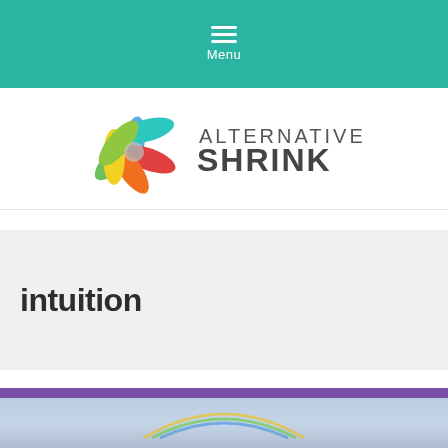Menu
[Figure (logo): Alternative Shrink logo: colorful flower with petals in green, blue, red, yellow, orange colors alongside the text ALTERNATIVE SHRINK in dark gray sans-serif font]
intuition
[Figure (photo): Partial view of a sky scene with a purple banner bar at the top and a rainbow visible in a cloudy sky below]